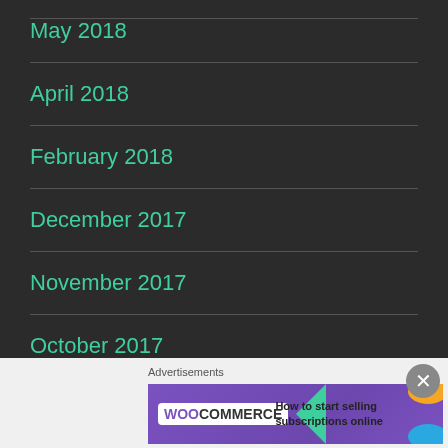May 2018
April 2018
February 2018
December 2017
November 2017
October 2017
September 2017
[Figure (other): WooCommerce advertisement banner: 'How to start selling subscriptions online']